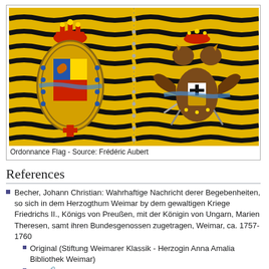[Figure (illustration): Two-panel heraldic ordonnance flag illustration on yellow/gold background with black wavy stripes. Left panel shows an oval coat of arms with crown and ornate decorations. Right panel shows a double-headed eagle coat of arms with crown. Panels are separated by a dotted vertical line.]
Ordonnance Flag - Source: Frédéric Aubert
References
Becher, Johann Christian: Wahrhaftige Nachricht derer Begebenheiten, so sich in dem Herzogthum Weimar by dem gewaltigen Kriege Friedrichs II., Königs von Preußen, mit der Königin von Ungarn, Marien Theresen, samt ihren Bundesgenossen zugetragen, Weimar, ca. 1757-1760
Original (Stiftung Weimarer Klassik - Herzogin Anna Amalia Bibliothek Weimar)
Copy (Deutsches Historisches Museum, Berlin)
Copy (Bibliothèque nationale de France, De Ridder collection)